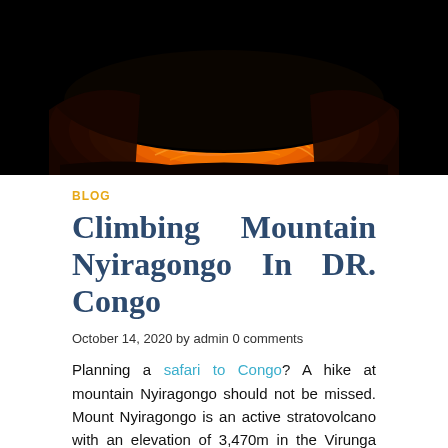[Figure (photo): Aerial or close-up photograph of Mount Nyiragongo's lava lake glowing bright orange and red against a dark black background, showing the volcanic crater with molten lava patterns.]
BLOG
Climbing Mountain Nyiragongo In DR. Congo
October 14, 2020 by admin 0 comments
Planning a safari to Congo? A hike at mountain Nyiragongo should not be missed. Mount Nyiragongo is an active stratovolcano with an elevation of 3,470m in the Virunga Mountains associated with the Albertine Rift. It's located inside Virunga National park in DR. Congo.